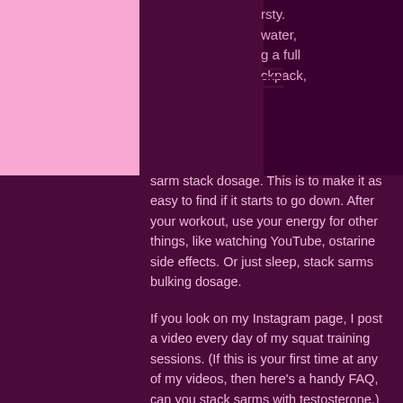rsty. water, g a full ckpack, sarm stack dosage. This is to make it as easy to find if it starts to go down. After your workout, use your energy for other things, like watching YouTube, ostarine side effects. Or just sleep, stack sarms bulking dosage.
If you look on my Instagram page, I post a video every day of my squat training sessions. (If this is your first time at any of my videos, then here's a handy FAQ, can you stack sarms with testosterone.) I've included a little instructional film below with a little extra advice for you, ostarine and cardarine stack for sale.
I've started posting a tutorial video for Muscle Milk on Youtube, sarms bulking results.